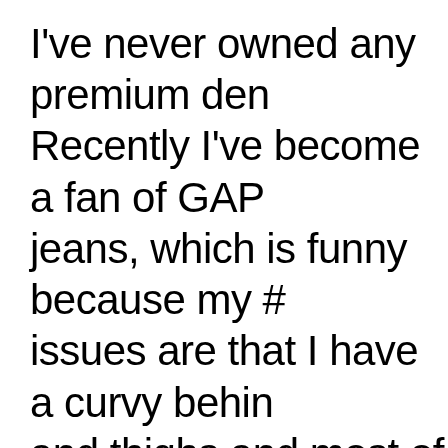I've never owned any premium denim. Recently I've become a fan of GAP jeans, which is funny because my #1 issues are that I have a curvy behind and thighs and most of their styles fit me off the shelf. It's almost sad to hear that premium denim isn't what it used to be, because if it was I would certainly consider buying wardrobe essentials from premium brands (for me, boo